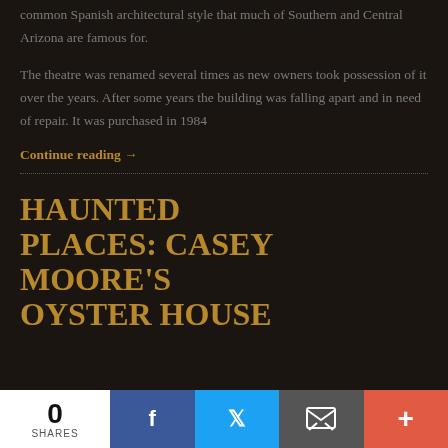common Spanish architectural style that much of Southern and Central Arizona are famous for.
The theatre was renamed several times as new owners took possession of it over the years. After some years the building was falling apart and in need of repair. It was purchased in 1984
Continue reading →
HAUNTED PLACES: CASEY MOORE'S OYSTER HOUSE